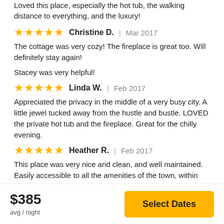Loved this place, especially the hot tub, the walking distance to everything, and the luxury!
★★★★★ Christine D. | Mar 2017
The cottage was very cozy! The fireplace is great too. Will definitely stay again!
Stacey was very helpful!
★★★★★ Linda W. | Feb 2017
Appreciated the privacy in the middle of a very busy city. A little jewel tucked away from the hustle and bustle. LOVED the private hot tub and the fireplace. Great for the chilly evening.
★★★★★ Heather R. | Feb 2017
This place was very nice and clean, and well maintained. Easily accessible to all the amenities of the town, within walking
$385 avg / night | Select Dates